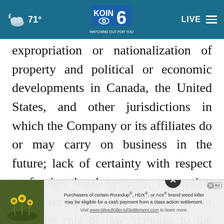71° KOIN 6 WATCHING OUT FOR YOU LIVE
expropriation or nationalization of property and political or economic developments in Canada, the United States, and other jurisdictions in which the Company or its affiliates do or may carry on business in the future; lack of certainty with respect to foreign legal systems, corruption and other factors that are inconsistent with the rule of law; damage to the Company's reputation due to the actual or perceived occurrence of any number of events, including negative publicity with respect to the